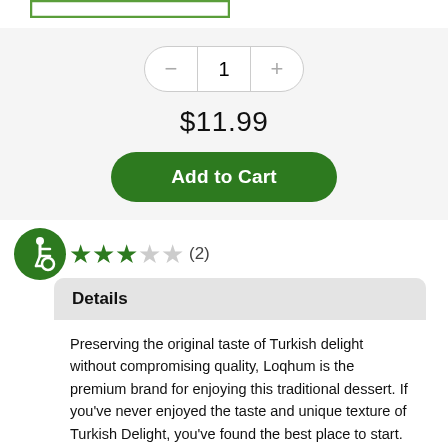[Figure (other): Green bordered rectangle UI element (partial, top of page)]
1
$11.99
Add to Cart
[Figure (other): Accessibility icon (green circle with wheelchair symbol) and 3-star rating with (2) reviews]
Details
Preserving the original taste of Turkish delight without compromising quality, Loqhum is the premium brand for enjoying this traditional dessert. If you've never enjoyed the taste and unique texture of Turkish Delight, you've found the best place to start. This Middle Eastern confection combines a gel starch and sugar with nutty flavors and spices and is then dusted with powdered